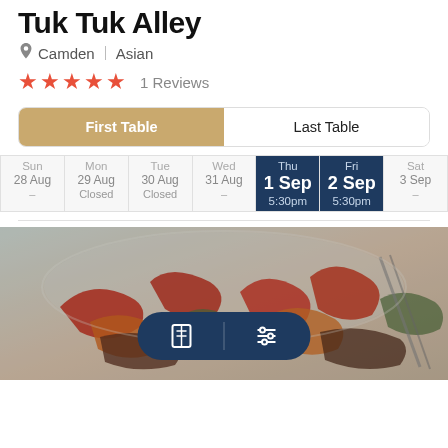Tuk Tuk Alley
Camden | Asian
★★★★★ 1 Reviews
| Sun | Mon | Tue | Wed | Thu | Fri | Sat |
| --- | --- | --- | --- | --- | --- | --- |
| 28 Aug | 29 Aug | 30 Aug | 31 Aug | 1 Sep | 2 Sep | 3 Sep |
| – | Closed | Closed | – | 5:30pm | 5:30pm | – |
[Figure (photo): Asian stir-fry food photo with vegetables and meat]
[Figure (infographic): Dark blue pill-shaped bottom nav bar with map/book icon and settings/filter icon]